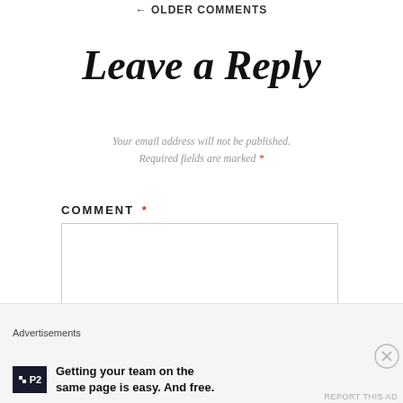← OLDER COMMENTS
Leave a Reply
Your email address will not be published. Required fields are marked *
COMMENT *
Advertisements
Getting your team on the same page is easy. And free.